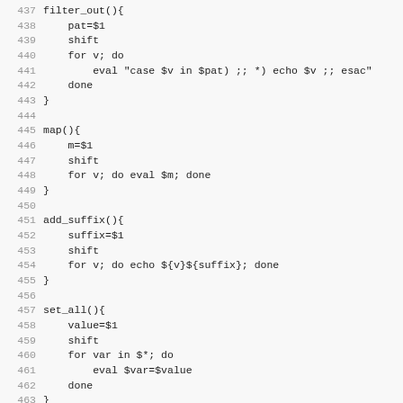437 filter_out(){
438     pat=$1
439     shift
440     for v; do
441         eval "case $v in $pat) ;; *) echo $v ;; esac"
442     done
443 }
444 
445 map(){
446     m=$1
447     shift
448     for v; do eval $m; done
449 }
450 
451 add_suffix(){
452     suffix=$1
453     shift
454     for v; do echo ${v}${suffix}; done
455 }
456 
457 set_all(){
458     value=$1
459     shift
460     for var in $*; do
461         eval $var=$value
462     done
463 }
464 
465 set_weak(){
466     value=$1
467     shift
468     for var; do
469         ...